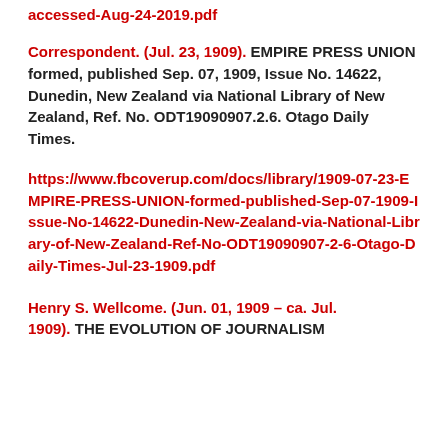accessed-Aug-24-2019.pdf
Correspondent. (Jul. 23, 1909). EMPIRE PRESS UNION formed, published Sep. 07, 1909, Issue No. 14622, Dunedin, New Zealand via National Library of New Zealand, Ref. No. ODT19090907.2.6. Otago Daily Times.
https://www.fbcoverup.com/docs/library/1909-07-23-EMPIRE-PRESS-UNION-formed-published-Sep-07-1909-Issue-No-14622-Dunedin-New-Zealand-via-National-Library-of-New-Zealand-Ref-No-ODT19090907-2-6-Otago-Daily-Times-Jul-23-1909.pdf
Henry S. Wellcome. (Jun. 01, 1909 – ca. Jul. 1909). THE EVOLUTION OF JOURNALISM